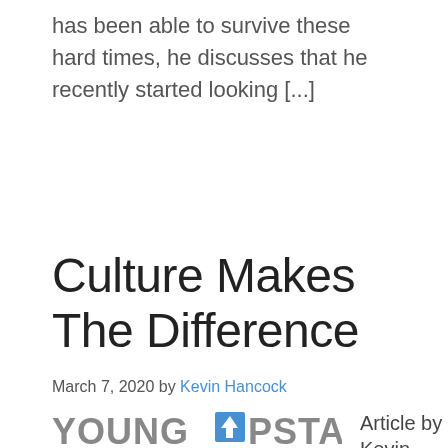has been able to survive these hard times, he discusses that he recently started looking [...]
Culture Makes The Difference
March 7, 2020 by Kevin Hancock
[Figure (logo): Young Upstarts logo with text 'VOICE OF A NEW GENERATION.' and an upward arrow icon]
Article by Kevin